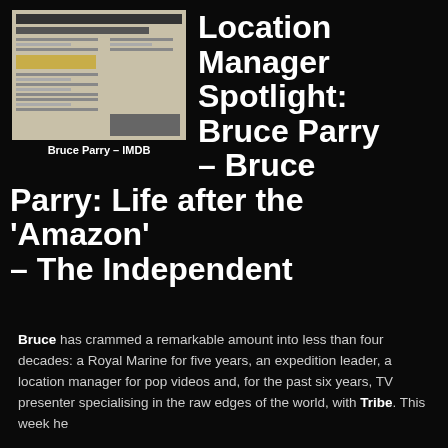[Figure (screenshot): Screenshot of a website, appearing to be an IMDB page related to Bruce Parry]
Bruce Parry – IMDB
Location Manager Spotlight: Bruce Parry – Bruce Parry: Life after the 'Amazon' – The Independent
Bruce has crammed a remarkable amount into less than four decades: a Royal Marine for five years, an expedition leader, a location manager for pop videos and, for the past six years, TV presenter specialising in the raw edges of the world, with Tribe. This week he